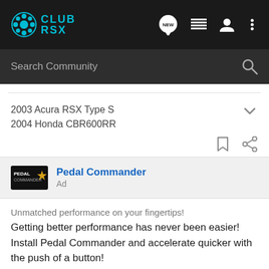CLUB RSX
Search Community
2003 Acura RSX Type S
2004 Honda CBR600RR
[Figure (logo): Pedal Commander logo with star icon]
Pedal Commander
Ad
Unmatched performance on your fingertips! Getting better performance has never been easier! Install Pedal Commander and accelerate quicker with the push of a button!
[Figure (logo): Pedal Commander brand logo text, partially visible at bottom]